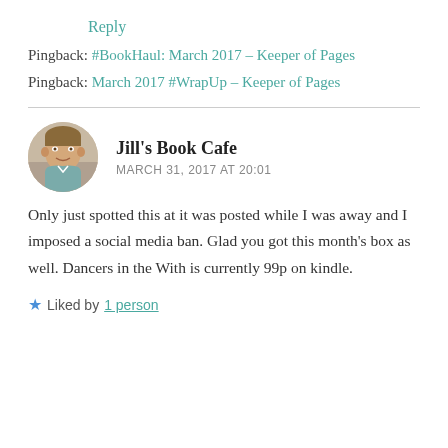Reply
Pingback: #BookHaul: March 2017 – Keeper of Pages
Pingback: March 2017 #WrapUp – Keeper of Pages
Jill's Book Cafe
MARCH 31, 2017 AT 20:01
Only just spotted this at it was posted while I was away and I imposed a social media ban. Glad you got this month's box as well. Dancers in the With is currently 99p on kindle.
Liked by 1 person